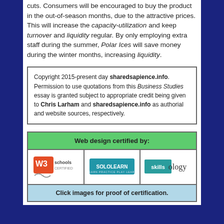cuts. Consumers will be encouraged to buy the product in the out-of-season months, due to the attractive prices. This will increase the capacity-utilization and keep turnover and liquidity regular. By only employing extra staff during the summer, Polar Ices will save money during the winter months, increasing liquidity.
Copyright 2015-present day sharedsapience.info. Permission to use quotations from this Business Studies essay is granted subject to appropriate credit being given to Chris Larham and sharedsapience.info as authorial and website sources, respectively.
[Figure (infographic): Web design certified by: logos for W3Schools Certified, SoloLearn, and Skillsology. Footer says Click images for proof of certification.]